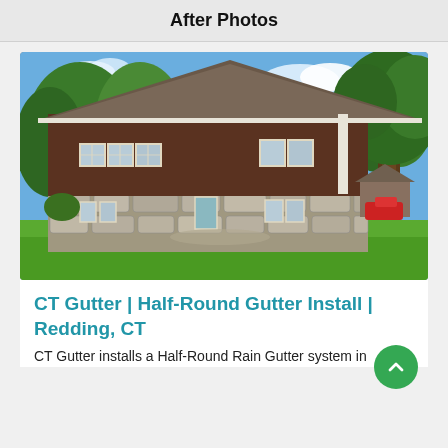After Photos
[Figure (photo): Exterior photo of a two-story house with dark brown cedar shake siding on the upper level and stone foundation on the lower level, white trim gutters, multiple windows, large tree on the right, green lawn, sunny day with blue sky and trees in background.]
CT Gutter | Half-Round Gutter Install | Redding, CT
CT Gutter installs a Half-Round Rain Gutter system in